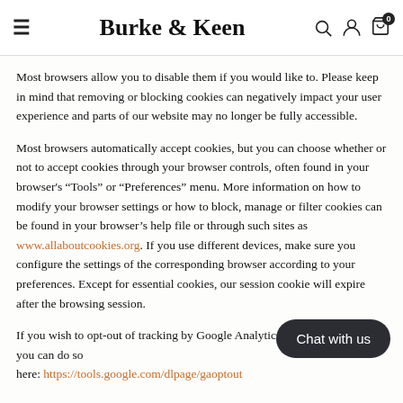Burke & Keen
Most browsers allow you to disable them if you would like to. Please keep in mind that removing or blocking cookies can negatively impact your user experience and parts of our website may no longer be fully accessible.
Most browsers automatically accept cookies, but you can choose whether or not to accept cookies through your browser controls, often found in your browser's “Tools” or “Preferences” menu. More information on how to modify your browser settings or how to block, manage or filter cookies can be found in your browser’s help file or through such sites as www.allaboutcookies.org. If you use different devices, make sure you configure the settings of the corresponding browser according to your preferences. Except for essential cookies, our session cookie will expire after the browsing session.
If you wish to opt-out of tracking by Google Analytics across all websites you can do so here: https://tools.google.com/dlpage/gaoptout